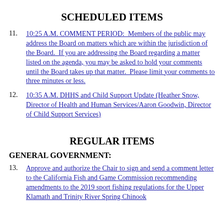SCHEDULED ITEMS
11. 10:25 A.M. COMMENT PERIOD:  Members of the public may address the Board on matters which are within the jurisdiction of the Board.  If you are addressing the Board regarding a matter listed on the agenda, you may be asked to hold your comments until the Board takes up that matter.  Please limit your comments to three minutes or less.
12. 10:35 A.M. DHHS and Child Support Update (Heather Snow, Director of Health and Human Services/Aaron Goodwin, Director of Child Support Services)
REGULAR ITEMS
GENERAL GOVERNMENT:
13. Approve and authorize the Chair to sign and send a comment letter to the California Fish and Game Commission recommending amendments to the 2019 sport fishing regulations for the Upper Klamath and Trinity River Spring Chinook…